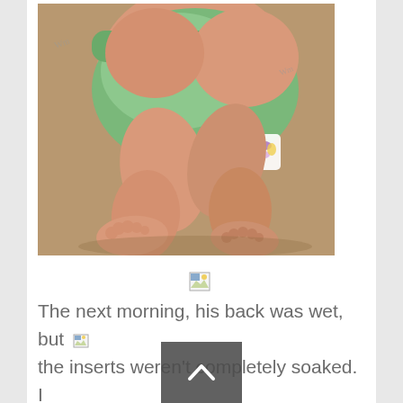[Figure (photo): Close-up photo of a baby wearing a green cloth diaper, showing chubby legs and feet on a tan/brown surface.]
[Figure (photo): Small broken image icon (placeholder for a second photo).]
The next morning, his back was wet, but the inserts weren't completely soaked.  I thought maybe it was user error?  I quickly washed & dried them to try again Tuesday night.  Wednesday morning, he woke up with EVERYthing soaked.  Pajamas, sleep sack